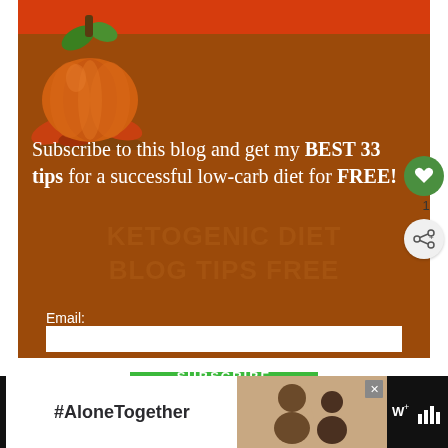[Figure (infographic): Subscription widget with brown/orange background, pumpkin illustration at top-left, orange top bar, white text with subscription offer, email input field, and green SUBSCRIBE button]
Subscribe to this blog and get my BEST 33 tips for a successful low-carb diet for FREE!
Email:
[Figure (infographic): Advertisement banner at bottom with black background, #AloneTogether text in white area, photo of people, and channel logo on right]